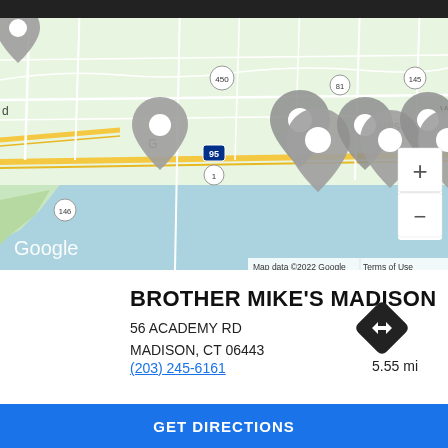[Figure (map): Google Maps screenshot showing the Connecticut shoreline near Madison, CT with multiple gray location pin markers along route 1/I-95. Shows road network, water bodies (Long Island Sound), and place labels including Madison, Westb(rook). Highway markers visible: 450, 81, 145, 95, 1, 146. Zoom controls (+/-) visible on right side. Google branding in lower left. Map data ©2022 Google footer.]
BROTHER MIKE'S MADISON
56 ACADEMY RD
MADISON, CT 06443
(203) 245-6161
5.55 mi
GET DIRECTIONS